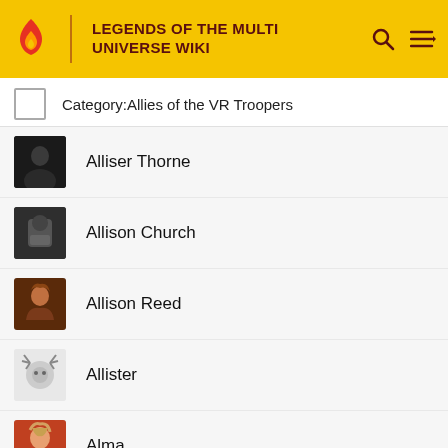LEGENDS OF THE MULTI UNIVERSE WIKI
Category:Allies of the VR Troopers
Alliser Thorne
Allison Church
Allison Reed
Allister
Alma
Alma Tandouji